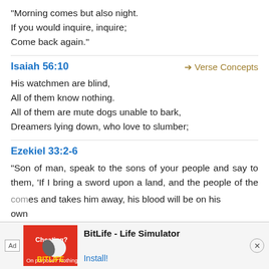“Morning comes but also night.
If you would inquire, inquire;
Come back again.”
Isaiah 56:10
Verse Concepts
His watchmen are blind,
All of them know nothing.
All of them are mute dogs unable to bark,
Dreamers lying down, who love to slumber;
Ezekiel 33:2-6
“Son of man, speak to the sons of your people and say to them, ‘If I bring a sword upon a land, and the people of the land take one man from among them and make him their watchman, and he sees the sword coming upon the land and blows on the trumpet and warns the people, then he who hears the sound of the trumpet and does not take warning, and a sword comes and takes him away, his blood will be on his own
[Figure (screenshot): BitLife - Life Simulator advertisement banner with Ad label, app icon on red background, app title, and Install button with close button]